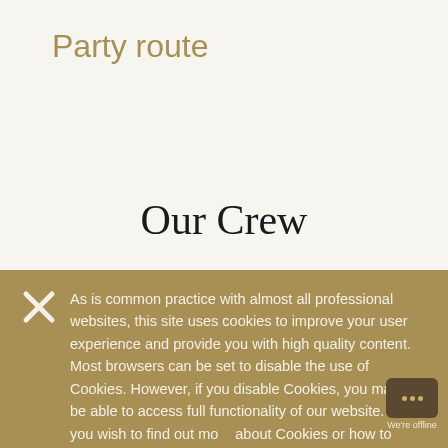Party route
[Figure (illustration): Cursive handwritten-style text reading 'Our Crew' in black ink on white/cream background]
As is common practice with almost all professional websites, this site uses cookies to improve your user experience and provide you with high quality content. Most browsers can be set to disable the use of Cookies. However, if you disable Cookies, you may not be able to access full functionality of our website. – If you wish to find out more about Cookies or how to disable them, please refer to our Privacy Policy.